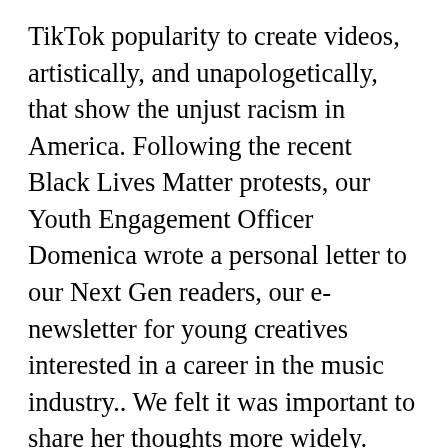TikTok popularity to create videos, artistically, and unapologetically, that show the unjust racism in America. Following the recent Black Lives Matter protests, our Youth Engagement Officer Domenica wrote a personal letter to our Next Gen readers, our e-newsletter for young creatives interested in a career in the music industry.. We felt it was important to share her thoughts more widely. CNN has reached out to TikTok for comment. All orders are custom made and most ship worldwide within 24 hours. 72. May 28, 2020 - Watch the best short videos of Baraa-haha-07 (@baraa2277). They then made an official statement on the matter on the main TikTok Twitter account. "We stand with the Black